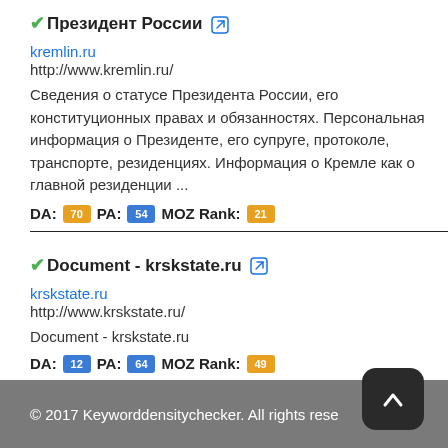✔Президент России 🔗
kremlin.ru
http://www.kremlin.ru/
Сведения о статусе Президента России, его конституционных правах и обязанностях. Персональная информация о Президенте, его супруге, протоколе, транспорте, резиденциях. Информация о Кремле как о главной резиденции ...
DA: 70  PA: 54  MOZ Rank: 21
✔Document - krskstate.ru 🔗
krskstate.ru
http://www.krskstate.ru/
Document - krskstate.ru
DA: 12  PA: 64  MOZ Rank: 49
© 2017 Keyworddensitychecker. All rights rese